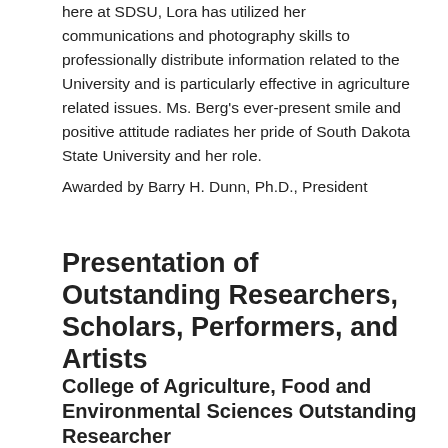here at SDSU, Lora has utilized her communications and photography skills to professionally distribute information related to the University and is particularly effective in agriculture related issues. Ms. Berg's ever-present smile and positive attitude radiates her pride of South Dakota State University and her role.
Awarded by Barry H. Dunn, Ph.D., President
Presentation of Outstanding Researchers, Scholars, Performers, and Artists
College of Agriculture, Food and Environmental Sciences Outstanding Researcher